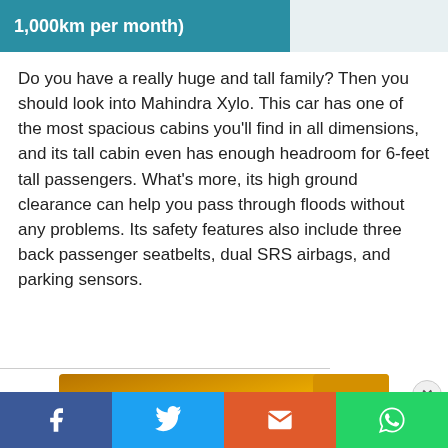1,000km per month)
Do you have a really huge and tall family? Then you should look into Mahindra Xylo. This car has one of the most spacious cabins you'll find in all dimensions, and its tall cabin even has enough headroom for 6-feet tall passengers. What's more, its high ground clearance can help you pass through floods without any problems. Its safety features also include three back passenger seatbelts, dual SRS airbags, and parking sensors.
[Figure (screenshot): Advertisement banner saying 'Become a master of shooter! DOWNLOAD NOW' with orange/gold background and game imagery]
[Figure (infographic): Social media share bar with Facebook, Twitter, Email, and WhatsApp buttons]